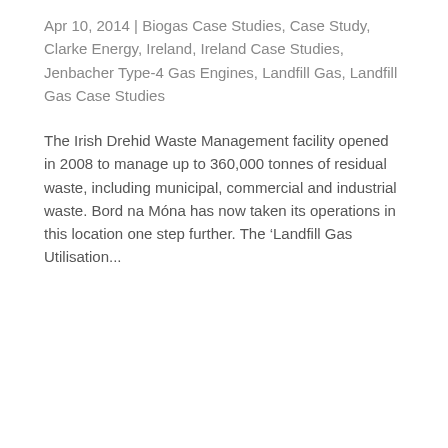Apr 10, 2014 | Biogas Case Studies, Case Study, Clarke Energy, Ireland, Ireland Case Studies, Jenbacher Type-4 Gas Engines, Landfill Gas, Landfill Gas Case Studies
The Irish Drehid Waste Management facility opened in 2008 to manage up to 360,000 tonnes of residual waste, including municipal, commercial and industrial waste. Bord na Móna has now taken its operations in this location one step further. The ‘Landfill Gas Utilisation...